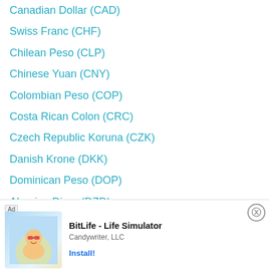Canadian Dollar (CAD)
Swiss Franc (CHF)
Chilean Peso (CLP)
Chinese Yuan (CNY)
Colombian Peso (COP)
Costa Rican Colon (CRC)
Czech Republic Koruna (CZK)
Danish Krone (DKK)
Dominican Peso (DOP)
Algerian Dinar (DZD)
Estonian Kroon (EEK)
Egypt...
[Figure (screenshot): Mobile app advertisement overlay for BitLife - Life Simulator by Candywriter, LLC with an Install button, shown at the bottom of the screen with a close (X) button in the top right.]